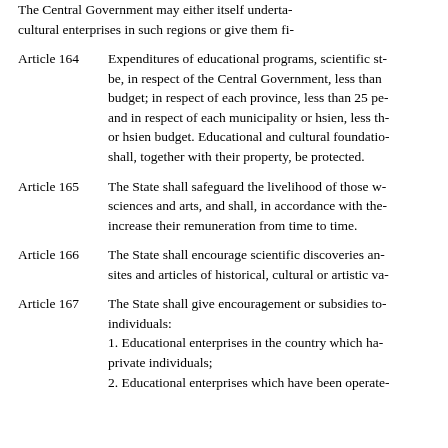The Central Government may either itself undertake educational and cultural enterprises in such regions or give them fi...
Article 164 — Expenditures of educational programs, scientific st... be, in respect of the Central Government, less than... budget; in respect of each province, less than 25 pe... and in respect of each municipality or hsien, less th... or hsien budget. Educational and cultural foundatio... shall, together with their property, be protected.
Article 165 — The State shall safeguard the livelihood of those w... sciences and arts, and shall, in accordance with the... increase their remuneration from time to time.
Article 166 — The State shall encourage scientific discoveries an... sites and articles of historical, cultural or artistic va...
Article 167 — The State shall give encouragement or subsidies to... individuals: 1. Educational enterprises in the country which ha... private individuals; 2. Educational enterprises which have been operate...